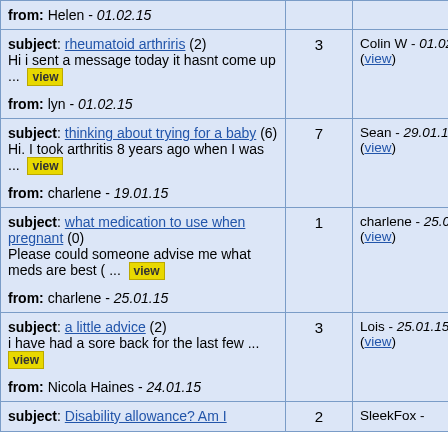| Subject/Message | Replies | Last Reply |
| --- | --- | --- |
| from: Helen - 01.02.15 |  |  |
| subject: rheumatoid arthriris (2)
Hi i sent a message today it hasnt come up ... view

from: lyn - 01.02.15 | 3 | Colin W - 01.02.15 (view) |
| subject: thinking about trying for a baby (6)
Hi. I took arthritis 8 years ago when I was ... view

from: charlene - 19.01.15 | 7 | Sean - 29.01.15 (view) |
| subject: what medication to use when pregnant (0)
Please could someone advise me what meds are best ( ... view

from: charlene - 25.01.15 | 1 | charlene - 25.01.15 (view) |
| subject: a little advice (2)
i have had a sore back for the last few ... view

from: Nicola Haines - 24.01.15 | 3 | Lois - 25.01.15 (view) |
| subject: Disability allowance? Am I | 2 | SleekFox - |